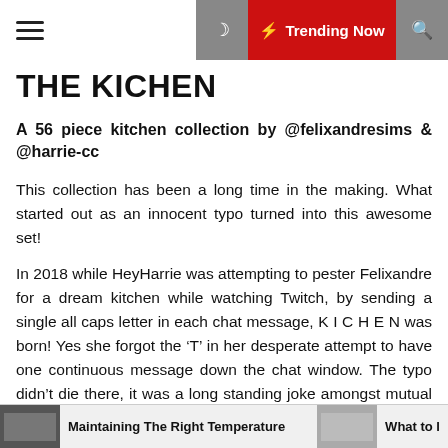THE KICHEN — ⚡ Trending Now navigation bar
THE KICHEN
A 56 piece kitchen collection by @felixandresims & @harrie-cc
This collection has been a long time in the making. What started out as an innocent typo turned into this awesome set!
In 2018 while HeyHarrie was attempting to pester Felixandre for a dream kitchen while watching Twitch, by sending a single all caps letter in each chat message, K I C H E N was born! Yes she forgot the 'T' in her desperate attempt to have one continuous message down the chat window. The typo didn't die there, it was a long standing joke amongst mutual friends & Harrie continued to pester for her dream kitchen. Luckily Felixandre was feeling very generous & decided to offer her a collaboration.
Maintaining The Right Temperature    What to l